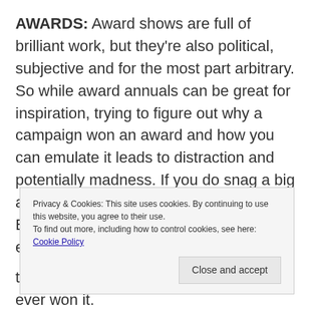AWARDS: Award shows are full of brilliant work, but they're also political, subjective and for the most part arbitrary. So while award annuals can be great for inspiration, trying to figure out why a campaign won an award and how you can emulate it leads to distraction and potentially madness. If you do snag a big award, good for you. It can open doors. But a common side effect is an inflated ego. It's your
Privacy & Cookies: This site uses cookies. By continuing to use this website, you agree to their use.
To find out more, including how to control cookies, see here: Cookie Policy
[Close and accept]
then put it in a drawer and forget you ever won it.